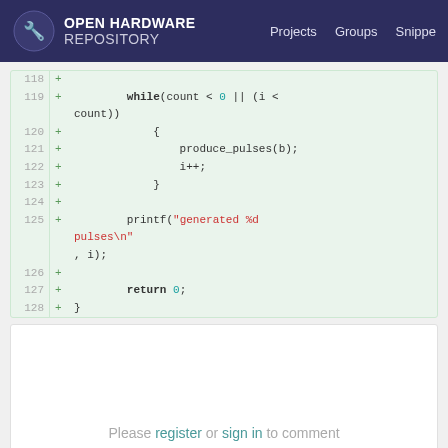OPEN HARDWARE REPOSITORY  Projects  Groups  Snippets
[Figure (screenshot): Code diff view showing lines 118-128 of a C source file with added lines (+) including a while loop, produce_pulses(b), i++, printf("generated %d pulses\n", i), and return 0]
Please register or sign in to comment